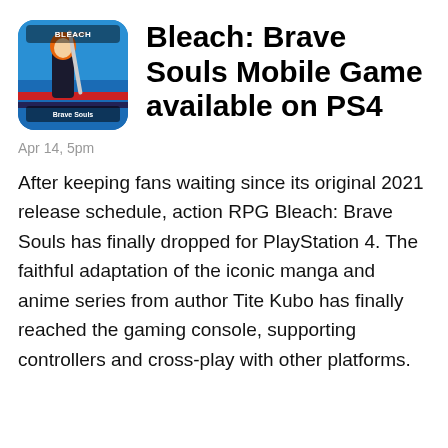[Figure (illustration): Bleach: Brave Souls mobile game app icon showing anime character with orange hair holding a sword, with the game logo text 'BLEACH Brave Souls' on a blue and red background]
Bleach: Brave Souls Mobile Game available on PS4
Apr 14, 5pm
After keeping fans waiting since its original 2021 release schedule, action RPG Bleach: Brave Souls has finally dropped for PlayStation 4. The faithful adaptation of the iconic manga and anime series from author Tite Kubo has finally reached the gaming console, supporting controllers and cross-play with other platforms.